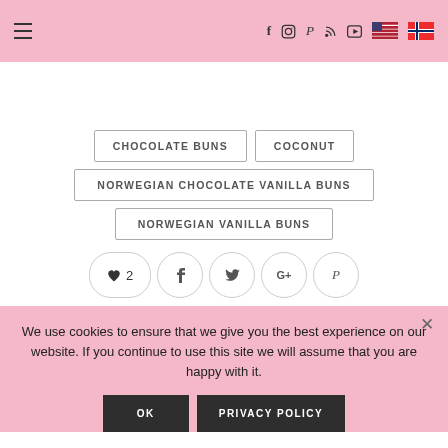Navigation bar with hamburger menu, social icons (f, Instagram, Pinterest, RSS, YouTube), US flag, Norwegian flag
CHOCOLATE BUNS
COCONUT
NORWEGIAN CHOCOLATE VANILLA BUNS
NORWEGIAN VANILLA BUNS
[Figure (other): Social share buttons: heart with count 2, Facebook, Twitter, Google+, Pinterest]
We use cookies to ensure that we give you the best experience on our website. If you continue to use this site we will assume that you are happy with it.
OK
PRIVACY POLICY